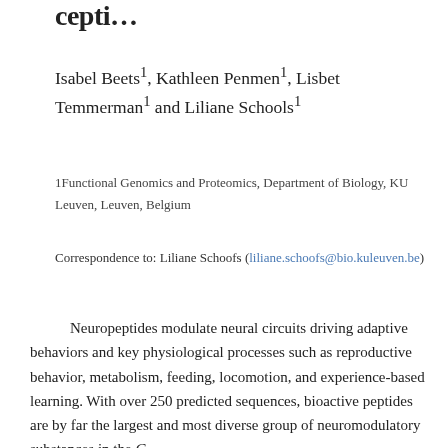…cepti…
Isabel Beets1, Kathleen Penmen1, Lisbet Temmerman1 and Liliane Schools1
1Functional Genomics and Proteomics, Department of Biology, KU Leuven, Leuven, Belgium
Correspondence to: Liliane Schoofs (liliane.schoofs@bio.kuleuven.be)
Neuropeptides modulate neural circuits driving adaptive behaviors and key physiological processes such as reproductive behavior, metabolism, feeding, locomotion, and experience-based learning. With over 250 predicted sequences, bioactive peptides are by far the largest and most diverse group of neuromodulatory substances in the C.